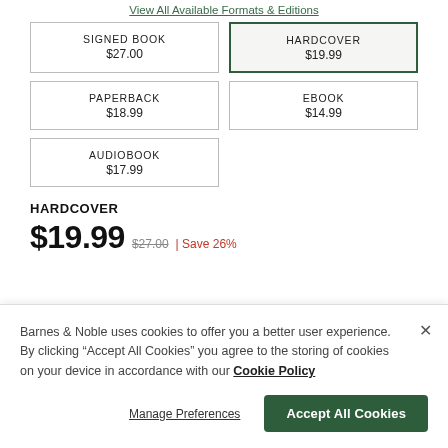View All Available Formats & Editions
SIGNED BOOK $27.00
HARDCOVER $19.99
PAPERBACK $18.99
EBOOK $14.99
AUDIOBOOK $17.99
HARDCOVER
$19.99 $27.00 | Save 26%
Barnes & Noble uses cookies to offer you a better user experience. By clicking "Accept All Cookies" you agree to the storing of cookies on your device in accordance with our Cookie Policy
Manage Preferences
Accept All Cookies